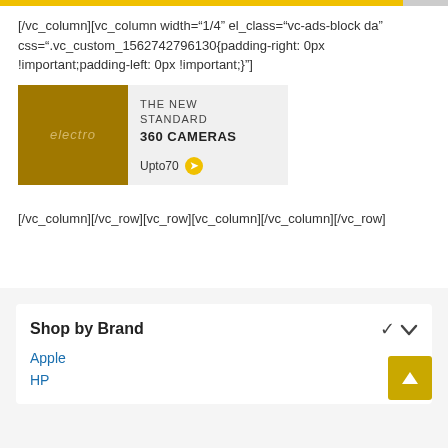[/vc_column][vc_column width="1/4" el_class="vc-ads-block da" css=".vc_custom_1562742796130{padding-right: 0px !important;padding-left: 0px !important;}"]
[Figure (screenshot): Ad banner showing electro brand with golden-brown left panel and text: THE NEW STANDARD 360 CAMERAS, Upto70 with yellow circle arrow]
[/vc_column][/vc_row][vc_row][vc_column][/vc_column][/vc_row]
Shop by Brand
Apple
HP